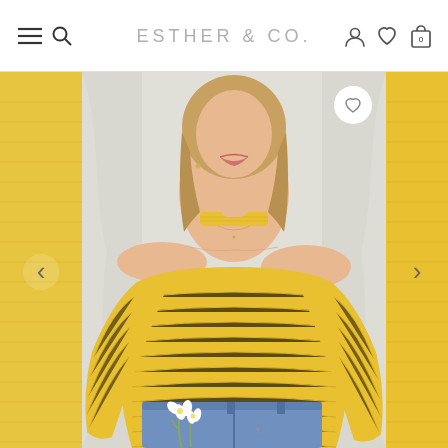ESTHER & CO.
[Figure (photo): E-commerce product page screenshot showing a woman wearing a yellow ribbed off-shoulder choker top with long sleeves, paired with light blue high-waist jeans, holding white flowers. Navigation bar at top reads ESTHER & CO. with hamburger menu, search, user, wishlist and cart icons. Product image carousel with left/right arrows and a wishlist heart button.]